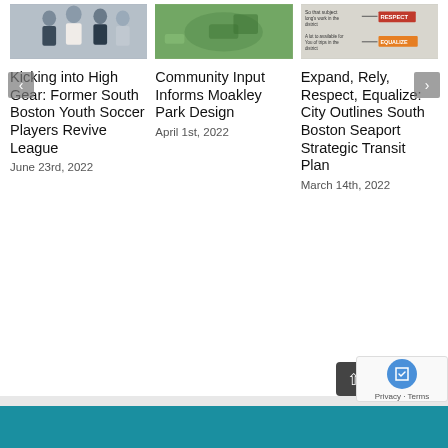[Figure (photo): Group of people posing together, thumbnail image]
[Figure (photo): Aerial view of a park design / green space]
[Figure (infographic): Transit diagram showing Respect and Equalize labels]
Kicking into High Gear: Former South Boston Youth Soccer Players Revive League
June 23rd, 2022
Community Input Informs Moakley Park Design
April 1st, 2022
Expand, Rely, Respect, Equalize: City Outlines South Boston Seaport Strategic Transit Plan
March 14th, 2022